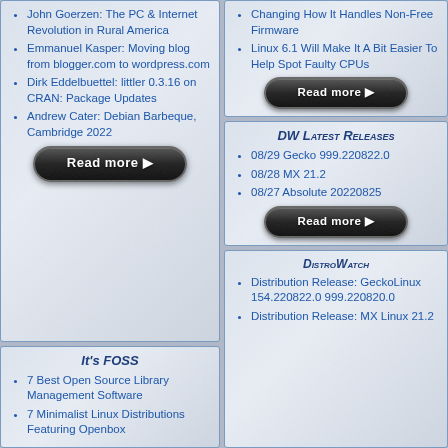John Goerzen: The PC & Internet Revolution in Rural America
Emmanuel Kasper: Moving blog from blogger.com to wordpress.com
Dirk Eddelbuettel: littler 0.3.16 on CRAN: Package Updates
Andrew Cater: Debian Barbeque, Cambridge 2022
Changing How It Handles Non-Free Firmware
Linux 6.1 Will Make It A Bit Easier To Help Spot Faulty CPUs
DW Latest Releases
08/29 Gecko 999.220822.0
08/28 MX 21.2
08/27 Absolute 20220825
It's FOSS
7 Best Open Source Library Management Software
7 Minimalist Linux Distributions Featuring Openbox
DistroWatch
Distribution Release: GeckoLinux 154.220822.0 999.220820.0
Distribution Release: MX Linux 21.2